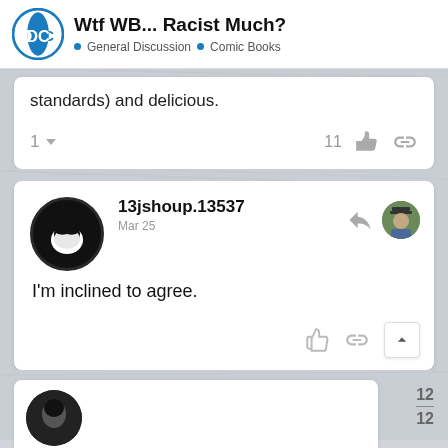Wtf WB... Racist Much? • General Discussion • Comic Books
standards) and delicious.
1  11
13jshoup.13537
Mar 25
I'm inclined to agree.
12
12